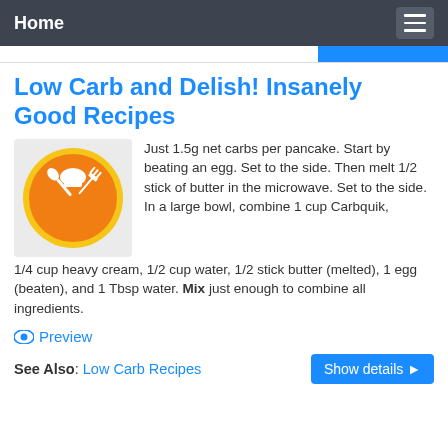Home
Low Carb and Delish! Insanely Good Recipes
[Figure (logo): Orange circular logo with white chef hat, spoon, and fork icons crossed]
Just 1.5g net carbs per pancake. Start by beating an egg. Set to the side. Then melt 1/2 stick of butter in the microwave. Set to the side. In a large bowl, combine 1 cup Carbquik, 1/4 cup heavy cream, 1/2 cup water, 1/2 stick butter (melted), 1 egg (beaten), and 1 Tbsp water. Mix just enough to combine all ingredients.
Preview
See Also: Low Carb Recipes